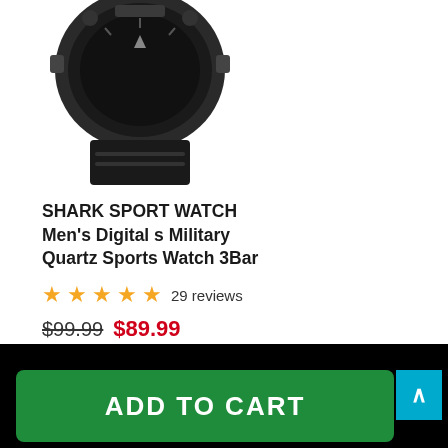[Figure (photo): Bottom portion of a dark military-style sport watch with black band and case, viewed from above against white background]
SHARK SPORT WATCH Men's Digital s Military Quartz Sports Watch 3Bar
29 reviews
$99.99 $89.99
ADD TO CART